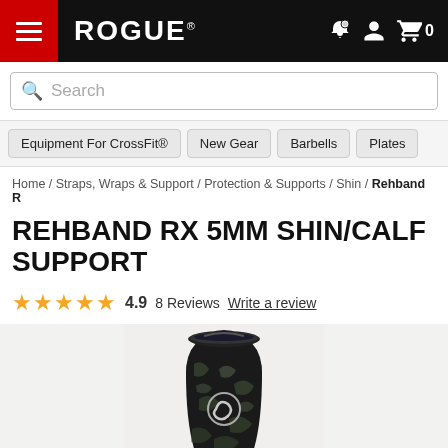ROGUE
Search
Equipment For CrossFit® | New Gear | Barbells | Plates
Home / Straps, Wraps & Support / Protection & Supports / Shin / Rehband R
REHBAND RX 5MM SHIN/CALF SUPPORT
4.9  8 Reviews  Write a review
[Figure (photo): Rehband RX 5MM Shin/Calf Support product photo showing a camouflage patterned neoprene shin guard with Rehband logo]